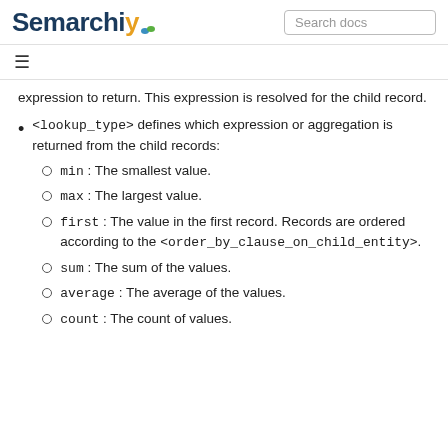Semarchy | Search docs
expression to return. This expression is resolved for the child record.
<lookup_type> defines which expression or aggregation is returned from the child records:
min : The smallest value.
max : The largest value.
first : The value in the first record. Records are ordered according to the <order_by_clause_on_child_entity>.
sum : The sum of the values.
average : The average of the values.
count : The count of values.